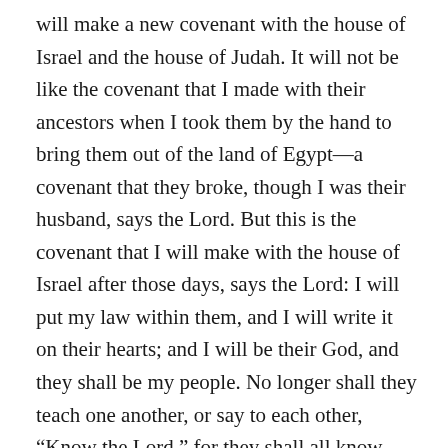will make a new covenant with the house of Israel and the house of Judah. It will not be like the covenant that I made with their ancestors when I took them by the hand to bring them out of the land of Egypt—a covenant that they broke, though I was their husband, says the Lord. But this is the covenant that I will make with the house of Israel after those days, says the Lord: I will put my law within them, and I will write it on their hearts; and I will be their God, and they shall be my people. No longer shall they teach one another, or say to each other, “Know the Lord,” for they shall all know me, from the least of them to the greatest, says the Lord; for I will forgive their iniquity, and remember their sin no more.”